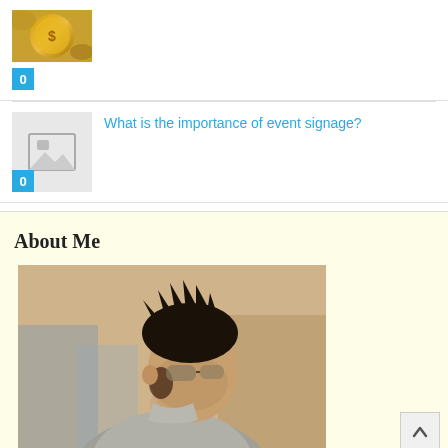[Figure (photo): Thumbnail of a coin/gold image with blue badge showing '0']
[Figure (photo): Placeholder image thumbnail with image icon and blue badge showing '0']
What is the importance of event signage?
About Me
[Figure (photo): Young man with spiky dark hair and sunglasses, wearing a hoodie, looking sideways — a profile/about me photo]